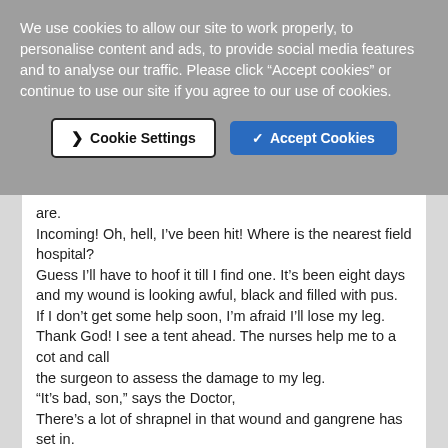We use cookies to allow our site to work properly, to personalise content and ads, to provide social media features and to analyse our traffic. Please click “Accept cookies” or continue to use our site if you agree to our use of cookies.
Cookie Settings
✓ Accept Cookies
are.
Incoming! Oh, hell, I’ve been hit! Where is the nearest field hospital?
Guess I’ll have to hoof it till I find one. It’s been eight days
and my wound is looking awful, black and filled with pus.
If I don’t get some help soon, I’m afraid I’ll lose my leg.
Thank God! I see a tent ahead. The nurses help me to a cot and call
the surgeon to assess the damage to my leg.
“It’s bad, son,” says the Doctor,
There’s a lot of shrapnel in that wound and gangrene has set in.
I’m carried into surgery and they prepare for